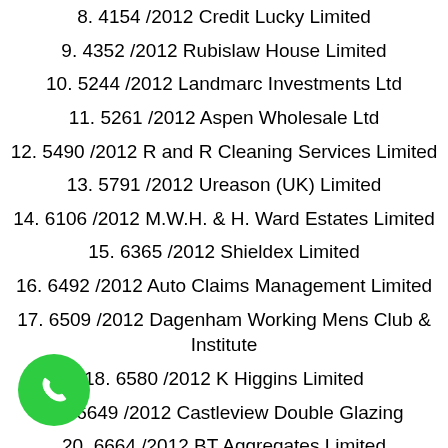8. 4154 /2012 Credit Lucky Limited
9. 4352 /2012 Rubislaw House Limited
10. 5244 /2012 Landmarc Investments Ltd
11. 5261 /2012 Aspen Wholesale Ltd
12. 5490 /2012 R and R Cleaning Services Limited
13. 5791 /2012 Ureason (UK) Limited
14. 6106 /2012 M.W.H. & H. Ward Estates Limited
15. 6365 /2012 Shieldex Limited
16. 6492 /2012 Auto Claims Management Limited
17. 6509 /2012 Dagenham Working Mens Club & Institute
18. 6580 /2012 K Higgins Limited
19. 6649 /2012 Castleview Double Glazing
20. 6664 /2012 BT Aggregates Limited